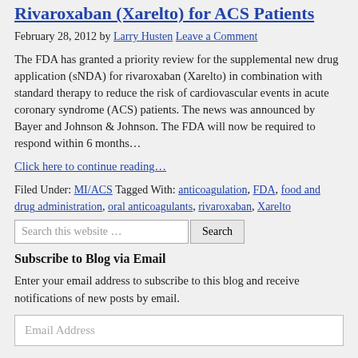Rivaroxaban (Xarelto) for ACS Patients
February 28, 2012 by Larry Husten Leave a Comment
The FDA has granted a priority review for the supplemental new drug application (sNDA) for rivaroxaban (Xarelto) in combination with standard therapy to reduce the risk of cardiovascular events in acute coronary syndrome (ACS) patients. The news was announced by Bayer and Johnson & Johnson. The FDA will now be required to respond within 6 months…
Click here to continue reading…
Filed Under: MI/ACS Tagged With: anticoagulation, FDA, food and drug administration, oral anticoagulants, rivaroxaban, Xarelto
Search this website …
Subscribe to Blog via Email
Enter your email address to subscribe to this blog and receive notifications of new posts by email.
Email Address